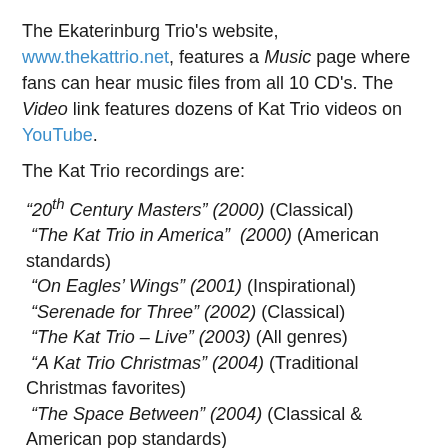The Ekaterinburg Trio's website, www.thekattrio.net, features a Music page where fans can hear music files from all 10 CD's. The Video link features dozens of Kat Trio videos on YouTube.
The Kat Trio recordings are:
“20th Century Masters” (2000) (Classical)
“The Kat Trio in America” (2000) (American standards)
“On Eagles’ Wings” (2001) (Inspirational)
“Serenade for Three” (2002) (Classical)
“The Kat Trio – Live” (2003) (All genres)
“A Kat Trio Christmas” (2004) (Traditional Christmas favorites)
“The Space Between” (2004) (Classical & American pop standards)
“Romantic Expressions” (2006) (Classical)